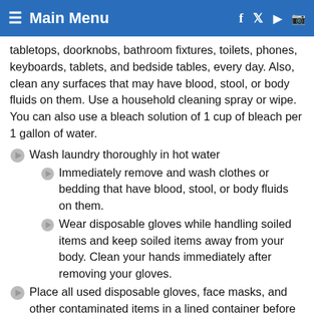≡ Main Menu
tabletops, doorknobs, bathroom fixtures, toilets, phones, keyboards, tablets, and bedside tables, every day. Also, clean any surfaces that may have blood, stool, or body fluids on them. Use a household cleaning spray or wipe. You can also use a bleach solution of 1 cup of bleach per 1 gallon of water.
Wash laundry thoroughly in hot water
Immediately remove and wash clothes or bedding that have blood, stool, or body fluids on them.
Wear disposable gloves while handling soiled items and keep soiled items away from your body. Clean your hands immediately after removing your gloves.
Place all used disposable gloves, face masks, and other contaminated items in a lined container before disposing of them with other household waste. Clean your